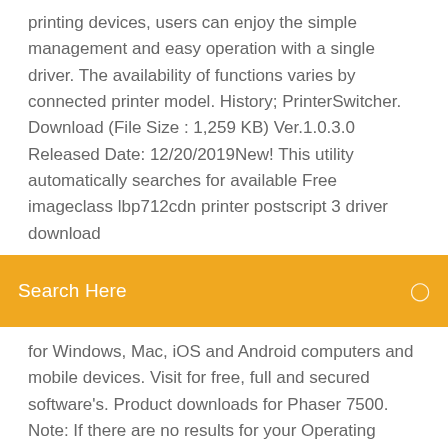printing devices, users can enjoy the simple management and easy operation with a single driver. The availability of functions varies by connected printer model. History; PrinterSwitcher. Download (File Size : 1,259 KB) Ver.1.0.3.0 Released Date: 12/20/2019New! This utility automatically searches for available Free imageclass lbp712cdn printer postscript 3 driver download
Search Here
for Windows, Mac, iOS and Android computers and mobile devices. Visit for free, full and secured software's. Product downloads for Phaser 7500. Note: If there are no results for your Operating Systemand/or Language, please check the compatibility documents to identify if your drivers are planned for delivery. >Compatibility with Windows and Mac OS X
Fedex zebra zp 500 plus printer driver download
Power season 2 download torrent
Epson driver download et-3600